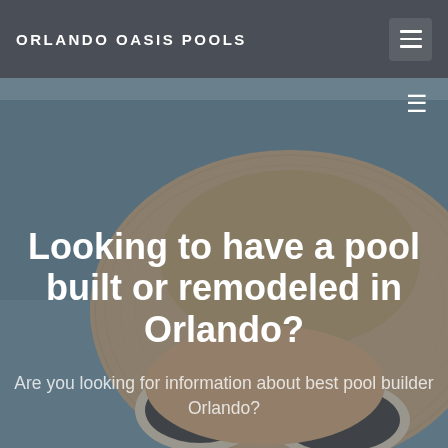ORLANDO OASIS POOLS
[Figure (photo): Background hero image showing a person wearing a wide-brim beige hat and white sunglasses near a pool, with a blueish/grey color tone overlay.]
Looking to have a pool built or remodeled in Orlando?
Are you looking for information about best pool builder Orlando?